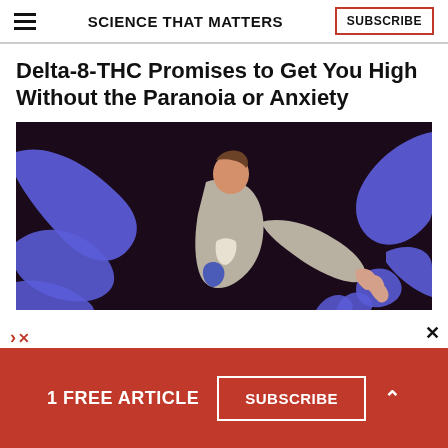SCIENCE THAT MATTERS
Delta-8-THC Promises to Get You High Without the Paranoia or Anxiety
[Figure (illustration): Illustration of a person in a grey jacket surrounded by large blue hands reaching toward them from a dark background, depicting paranoia or anxiety.]
1 FREE ARTICLE